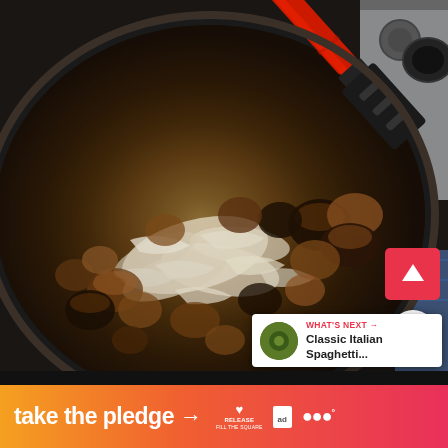[Figure (photo): A black non-stick frying pan with sautéed mushrooms and sliced onions being stirred with a black spatula with a red handle. The pan is on a stovetop. A red upload/share button and share icon are overlaid on the right side. A 'What's Next' card shows 'Classic Italian Spaghetti...' with a thumbnail.]
WHAT'S NEXT → Classic Italian Spaghetti...
take the pledge →
RELEASE
ad